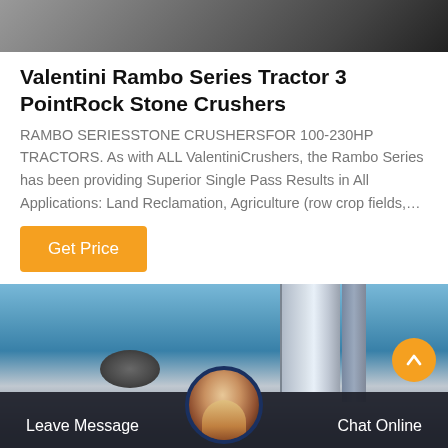[Figure (photo): Top partial image of stone crusher machinery, dark tones]
Valentini Rambo Series Tractor 3 PointRock Stone Crushers
RAMBO SERIESSTONE CRUSHERSFOR 100-230HP TRACTORS. As with ALL ValentiniCrushers, the Rambo Series has been providing Superior Single Pass Results in All Applications: Land Reclamation, Agriculture (row crop fields,…
[Figure (photo): Bottom image of industrial machinery/building with blue sky background, chat interface overlay at bottom showing Leave Message and Chat Online buttons with customer service avatar]